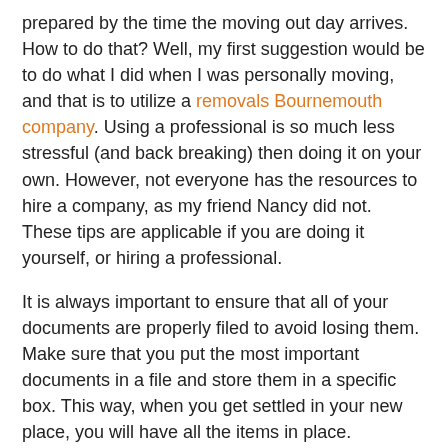prepared by the time the moving out day arrives. How to do that? Well, my first suggestion would be to do what I did when I was personally moving, and that is to utilize a removals Bournemouth company. Using a professional is so much less stressful (and back breaking) then doing it on your own. However, not everyone has the resources to hire a company, as my friend Nancy did not. These tips are applicable if you are doing it yourself, or hiring a professional.
It is always important to ensure that all of your documents are properly filed to avoid losing them. Make sure that you put the most important documents in a file and store them in a specific box. This way, when you get settled in your new place, you will have all the items in place.
Another great tip is to start packing early. Do not wait until the eve of your moving day to start packing. This will lead to confusion and some items being misplaced. When you pack early, you get enough time to ensure that all of your items are well-placed and it will also help you in getting rid of the things you don't need.